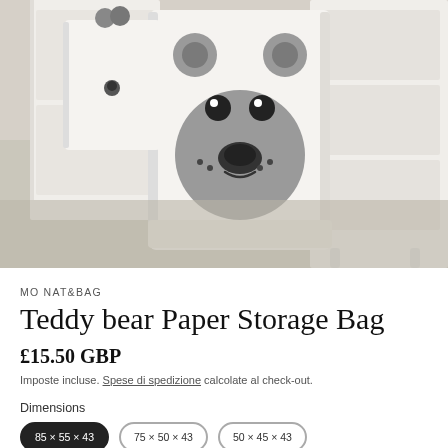[Figure (photo): Product photo of a white paper storage bag with a teddy bear / panda face design, sitting on a light grey carpet next to white furniture]
MO NAT&BAG
Teddy bear Paper Storage Bag
£15.50 GBP
Imposte incluse. Spese di spedizione calcolate al check-out.
Dimensions
85 × 55 × 43   75 × 50 × 43   50 × 45 × 43